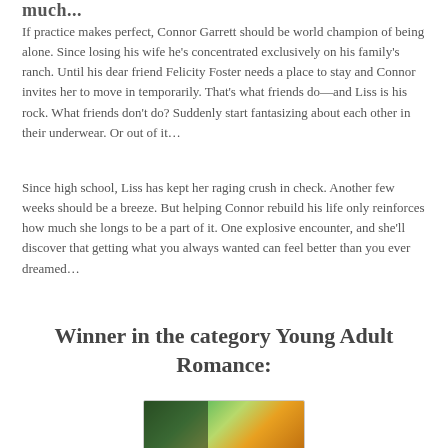much...
If practice makes perfect, Connor Garrett should be world champion of being alone. Since losing his wife he's concentrated exclusively on his family's ranch. Until his dear friend Felicity Foster needs a place to stay and Connor invites her to move in temporarily. That's what friends do—and Liss is his rock. What friends don't do? Suddenly start fantasizing about each other in their underwear. Or out of it…
Since high school, Liss has kept her raging crush in check. Another few weeks should be a breeze. But helping Connor rebuild his life only reinforces how much she longs to be a part of it. One explosive encounter, and she'll discover that getting what you always wanted can feel better than you ever dreamed…
Winner in the category Young Adult Romance:
[Figure (photo): Partial view of a book cover with green and orange tones, partially visible at the bottom of the page.]